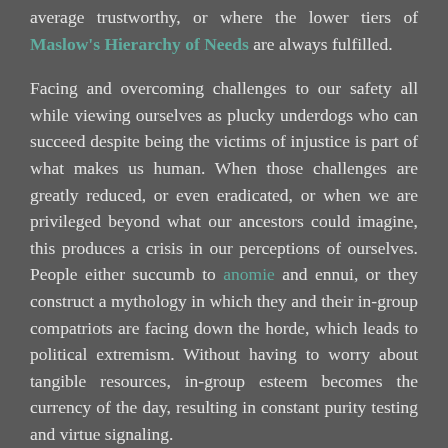average trustworthy, or where the lower tiers of Maslow's Hierarchy of Needs are always fulfilled.
Facing and overcoming challenges to our safety all while viewing ourselves as plucky underdogs who can succeed despite being the victims of injustice is part of what makes us human. When those challenges are greatly reduced, or even eradicated, or when we are privileged beyond what our ancestors could imagine, this produces a crisis in our perceptions of ourselves. People either succumb to anomie and ennui, or they construct a mythology in which they and their in-group compatriots are facing down the horde, which leads to political extremism. Without having to worry about tangible resources, in-group esteem becomes the currency of the day, resulting in constant purity testing and virtue signaling.